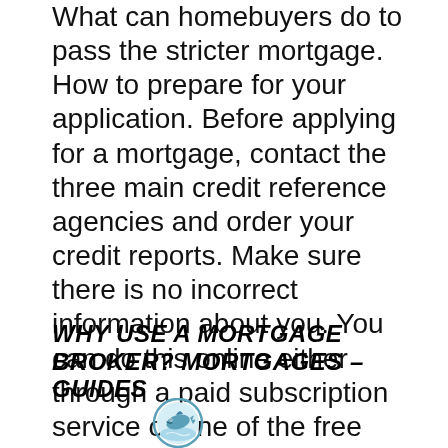What can homebuyers do to pass the stricter mortgage. How to prepare for your application. Before applying for a mortgage, contact the three main credit reference agencies and order your credit reports. Make sure there is no incorrect information about you. You can do this online either through a paid subscription service or one of the free online services currently available., Your information is not stored on our systems if you do not submit this application. United Kingdom; much do I need to buy a home? A mortgage down payment.
WHY USE A MORTGAGE BROKER? MORTGAGES – GUIDES
[Figure (logo): A circular logo with a dolphin or fish illustration in blue/teal tones]